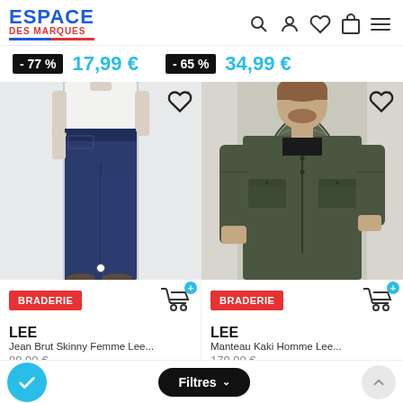ESPACE DES MARQUES — navigation header with search, user, wishlist, cart, menu icons
- 77 %   17,99 €   - 65 %   34,99 €
[Figure (photo): Woman wearing dark blue skinny jeans, cropped photo showing torso and legs only]
[Figure (photo): Man wearing olive/khaki hooded jacket (manteau), standing facing camera]
BRADERIE   LEE   Jean Brut Skinny Femme Lee...   89,90 €
BRADERIE   LEE   Manteau Kaki Homme Lee...   179,90 €
Filtres ∨